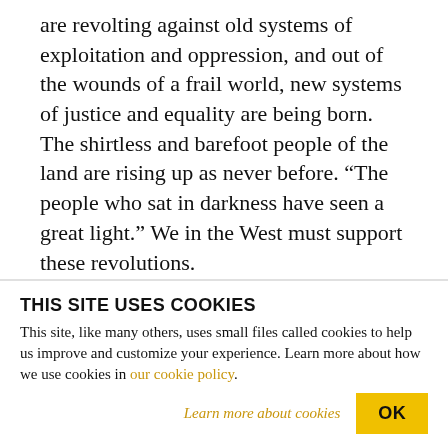are revolting against old systems of exploitation and oppression, and out of the wounds of a frail world, new systems of justice and equality are being born. The shirtless and barefoot people of the land are rising up as never before. “The people who sat in darkness have seen a great light.” We in the West must support these revolutions.
It is a sad fact that because of comfort, complacency, a morbid fear of communism, and our proneness to adjust to injustice, the Western nations that initiated
THIS SITE USES COOKIES
This site, like many others, uses small files called cookies to help us improve and customize your experience. Learn more about how we use cookies in our cookie policy.
Learn more about cookies